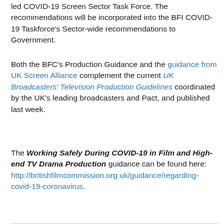led COVID-19 Screen Sector Task Force. The recommendations will be incorporated into the BFI COVID-19 Taskforce's Sector-wide recommendations to Government.
Both the BFC's Production Guidance and the guidance from UK Screen Alliance complement the current UK Broadcasters' Television Production Guidelines coordinated by the UK's leading broadcasters and Pact, and published last week.
The Working Safely During COVID-19 in Film and High-end TV Drama Production guidance can be found here: http://britishfilmcommission.org.uk/guidance/regarding-covid-19-coronavirus.